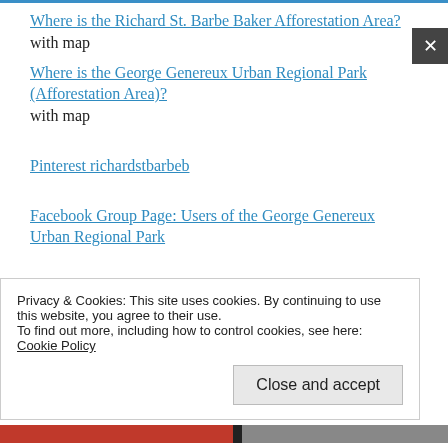Where is the Richard St. Barbe Baker Afforestation Area? with map
Where is the George Genereux Urban Regional Park (Afforestation Area)? with map
Pinterest richardstbarbeb
Facebook Group Page: Users of the George Genereux Urban Regional Park
Privacy & Cookies: This site uses cookies. By continuing to use this website, you agree to their use.
To find out more, including how to control cookies, see here:
Cookie Policy
Close and accept